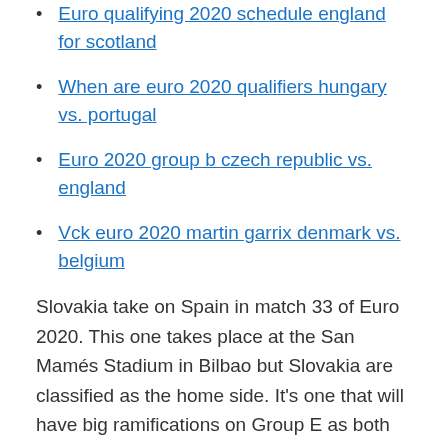Euro qualifying 2020 schedule england for scotland
When are euro 2020 qualifiers hungary vs. portugal
Euro 2020 group b czech republic vs. england
Vck euro 2020 martin garrix denmark vs. belgium
Slovakia take on Spain in match 33 of Euro 2020. This one takes place at the San Mamés Stadium in Bilbao but Slovakia are classified as the home side. It's one that will have big ramifications on Group E as both sides aim to secure their place in the next stage of the competition. Jun 04, 2021 · Euro 2020 Fixtures & Results.